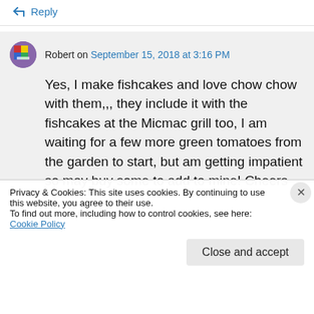↳ Reply
Robert on September 15, 2018 at 3:16 PM
Yes, I make fishcakes and love chow chow with them,,, they include it with the fishcakes at the Micmac grill too, I am waiting for a few more green tomatoes from the garden to start, but am getting impatient so may buy some to add to mine! Cheers
Privacy & Cookies: This site uses cookies. By continuing to use this website, you agree to their use.
To find out more, including how to control cookies, see here: Cookie Policy
Close and accept